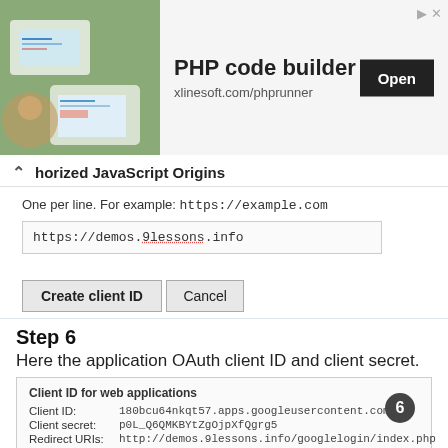[Figure (screenshot): Advertisement banner for PHP code builder at xlinesoft.com/phprunner with photo of person using tablet and an Open button]
horized JavaScript Origins
One per line. For example: https://example.com
https://demos.9lessons.info
Create client ID   Cancel
Step 6
Here the application OAuth client ID and client secret.
[Figure (screenshot): Client ID for web applications panel showing Client ID: 180bcu64nkqt57.apps.googleusercontent.com, Client secret: p0L_Q6QMKBYtZgOjpXfQgrg5, Redirect URIs: http://demos.9lessons.info/googlelogin/index.php]